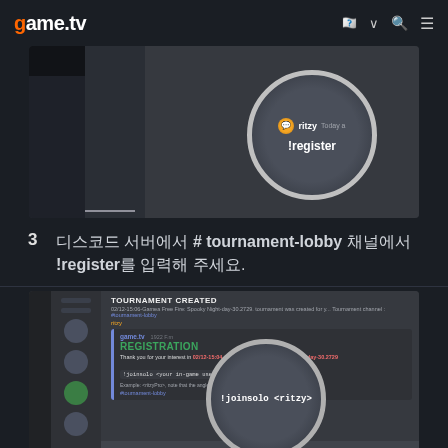game.tv
[Figure (screenshot): Discord screenshot showing a chat bubble with user 'ritzy' sending '!register' command in a tournament lobby channel]
3  디스코드 서버에서 # tournament-lobby 채널에서 !register를 입력해 주세요.
[Figure (screenshot): Discord screenshot showing TOURNAMENT CREATED notification and REGISTRATION confirmation message with !joinsolo <ritzy> command highlighted in a chat bubble]